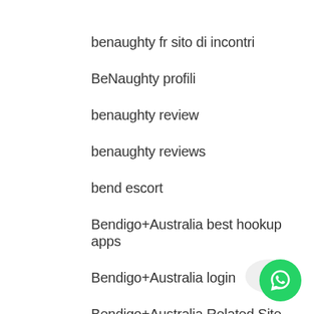benaughty fr sito di incontri
BeNaughty profili
benaughty review
benaughty reviews
bend escort
Bendigo+Australia best hookup apps
Bendigo+Australia login
Bendigo+Australia Related Site
berkeley escort near me
best canadian online casino
[Figure (logo): WhatsApp contact button icon (green circle with phone handset)]